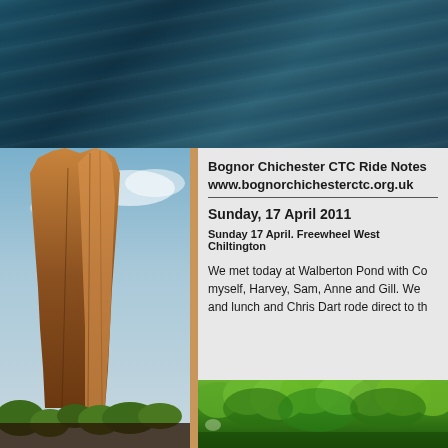[Figure (photo): Blue metallic/rocky texture banner photo strip across the top of the page]
[Figure (photo): Tall rocky cliff or spire photographed from below against a cloudy sky, with green vegetation at base]
Bognor Chichester CTC Ride Notes www.bognorchichesterctc.org.uk
Sunday, 17 April 2011
Sunday 17 April. Freewheel West Chiltington
We met today at Walberton Pond with Co myself, Harvey, Sam, Anne and Gill. We and lunch and Chris Dart rode direct to th
[Figure (photo): Green leafy trees canopy photo in the bottom right section]